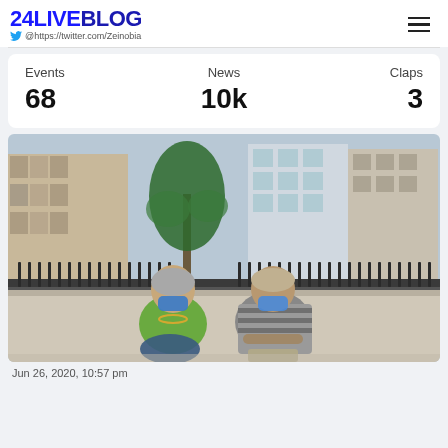24LIVEBLOG @https://twitter.com/Zeinobia
| Events | News | Claps |
| --- | --- | --- |
| 68 | 10k | 3 |
[Figure (photo): Two elderly people wearing blue face masks sitting on a ledge outdoors, with palm trees and apartment buildings in the background. The woman on the left wears a green shirt; the man on the right wears a striped shirt with arms crossed.]
Jun 26, 2020, 10:57 pm